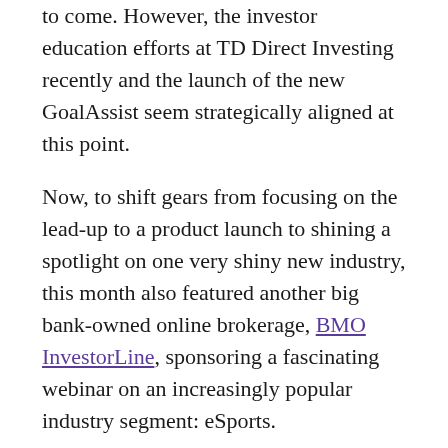to come. However, the investor education efforts at TD Direct Investing recently and the launch of the new GoalAssist seem strategically aligned at this point.
Now, to shift gears from focusing on the lead-up to a product launch to shining a spotlight on one very shiny new industry, this month also featured another big bank-owned online brokerage, BMO InvestorLine, sponsoring a fascinating webinar on an increasingly popular industry segment: eSports.
Presented by Evolve ETFs – a Canadian ETF provider that gives investment exposure to the eSports sector – this webinar helped to explain the opportunities available in the eSports and eGaming sectors and outlined how investors can look at participating in them. Because they offer an ETF aimed at the eSports sector (ticker HERO on the TSX), there is clearly an interest in bringing general